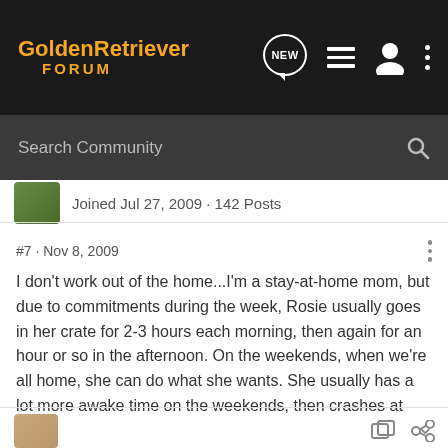GoldenRetriever FORUM
Joined Jul 27, 2009 · 142 Posts
#7 · Nov 8, 2009
I don't work out of the home...I'm a stay-at-home mom, but due to commitments during the week, Rosie usually goes in her crate for 2-3 hours each morning, then again for an hour or so in the afternoon. On the weekends, when we're all home, she can do what she wants. She usually has a lot more awake time on the weekends, then crashes at night.